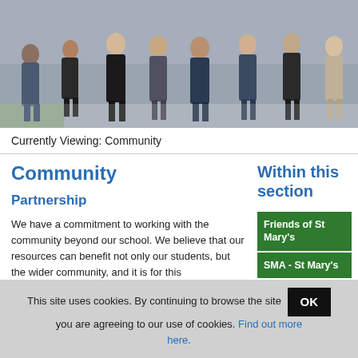[Figure (photo): Group of school students in formal uniforms walking together outdoors near a brick building]
Currently Viewing: Community
Community
Partnership
We have a commitment to working with the community beyond our school. We believe that our resources can benefit not only our students, but the wider community, and it is for this
Within this section
Friends of St Mary's
SMA - St Mary's
This site uses cookies. By continuing to browse the site you are agreeing to our use of cookies. Find out more here.